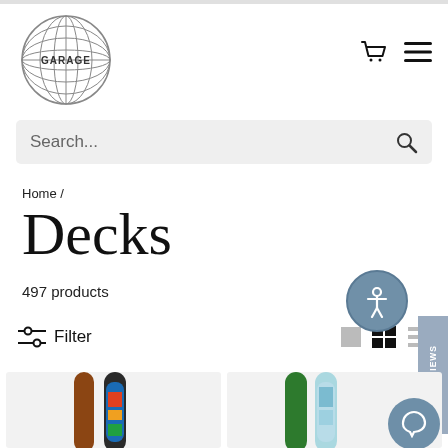[Figure (logo): Garage skateboard shop globe logo with wireframe globe and GARAGE text]
Search...
Home /
Decks
497 products
Filter
[Figure (photo): Two skateboard decks partially visible, left showing brown and illustrated graphic deck, right showing green and illustrated graphic deck]
★ REVIEWS